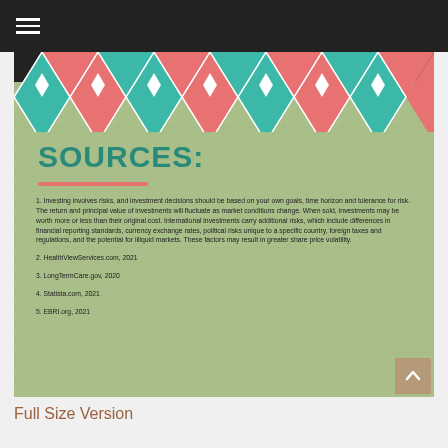Navigation bar with hamburger menu
SOURCES:
1. Investing involves risks, and investment decisions should be based on your own goals, time horizon and tolerance for risk. The return and principal value of investments will fluctuate as market conditions change. When sold, investments may be worth more or less than their original cost. International investments carry additional risks, which include differences in financial reporting standards, currency exchange rates, political risks unique to a specific country, foreign taxes and regulations, and the potential for illiquid markets. These factors may result in greater share price volatility.
2. HealthViewServices.com, 2021
3. LongTermCare.gov, 2020
4. Statista.com, 2021
5. EBRI.org, 2021
Full Size Version